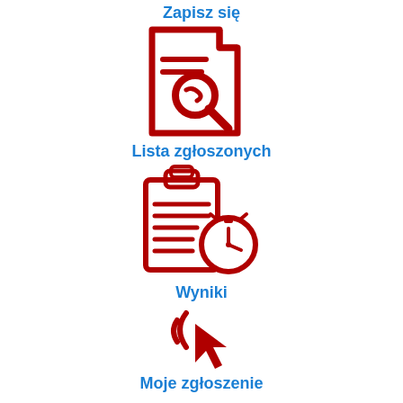Zapisz się
[Figure (illustration): Red document/form icon with a magnifying glass overlay]
Lista zgłoszonych
[Figure (illustration): Red clipboard with lines and a stopwatch icon]
Wyniki
[Figure (illustration): Red cursor/pointer click icon]
Moje zgłoszenie
[Figure (illustration): Red pie chart or helmet icon (partially visible)]